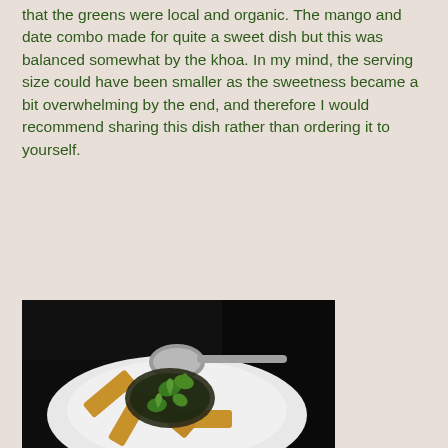that the greens were local and organic.  The mango and date combo made for quite a sweet dish but this was balanced somewhat by the khoa.  In my mind, the serving size could have been smaller as the sweetness became a bit overwhelming by the end, and therefore I would recommend sharing this dish rather than ordering it to yourself.
[Figure (photo): A restaurant dish on a white plate showing fried items arranged like spokes with a herb and dark sauce topping garnished with fresh cilantro leaves, with a spoon resting on the plate, photographed in low light.]